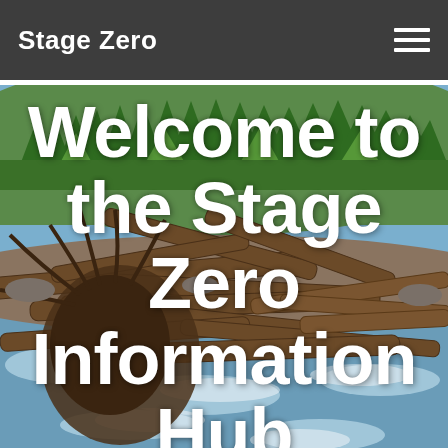Stage Zero
[Figure (photo): Outdoor nature scene showing a river with logjam/debris pile in the foreground, rushing whitewater, and a dense evergreen forest on a hillside in the background. Springtime, bright green leaves on some trees.]
Welcome to the Stage Zero Information Hub